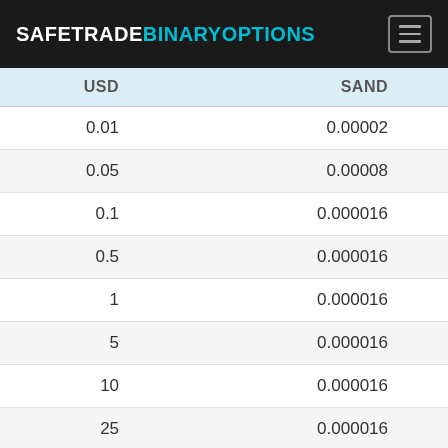SAFETRADEBINARYOPTIONS
| USD | SAND |
| --- | --- |
| 0.01 | 0.00002 |
| 0.05 | 0.00008 |
| 0.1 | 0.000016 |
| 0.5 | 0.000016 |
| 1 | 0.000016 |
| 5 | 0.000016 |
| 10 | 0.000016 |
| 25 | 0.000016 |
| 50 | 0.000016 |
| 100 | 0.000016 |